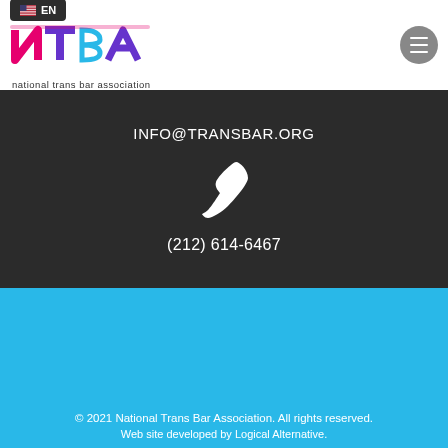[Figure (logo): National Trans Bar Association logo with NTBA letters in pink, purple, and blue, and text 'national trans bar association' below. Language badge showing US flag and EN above the logo.]
INFO@TRANSBAR.ORG
[Figure (illustration): White telephone handset icon]
(212) 614-6467
© 2021 National Trans Bar Association. All rights reserved.
Web site developed by Logical Alternative.